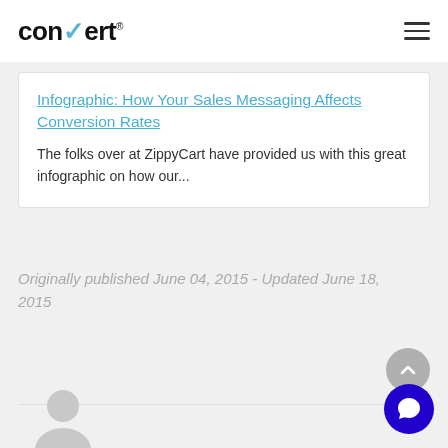convert
Infographic: How Your Sales Messaging Affects Conversion Rates
The folks over at ZippyCart have provided us with this great infographic on how our...
Originally published June 04, 2015 - Updated June 18, 2015